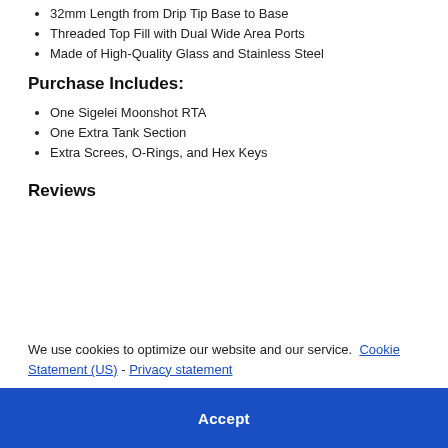32mm Length from Drip Tip Base to Base
Threaded Top Fill with Dual Wide Area Ports
Made of High-Quality Glass and Stainless Steel
Purchase Includes:
One Sigelei Moonshot RTA
One Extra Tank Section
Extra Screes, O-Rings, and Hex Keys
Reviews
We use cookies to optimize our website and our service.  Cookie Statement (US)  -  Privacy statement
Accept